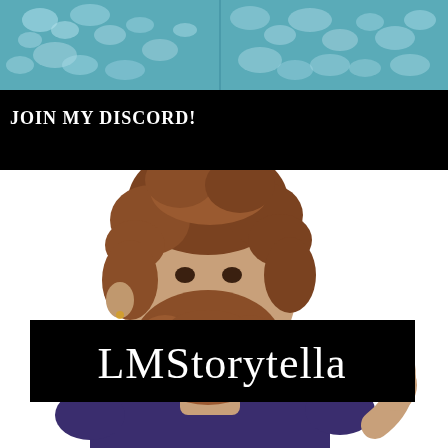[Figure (illustration): Teal/blue water or tile texture banner at top of page]
JOIN MY DISCORD!
[Figure (illustration): Cartoon illustration of a bearded man with brown curly hair wearing a dark purple t-shirt, raising his right fist, with a yellow star near his beard. A black banner overlaid reads 'LMStorytella' in white serif font.]